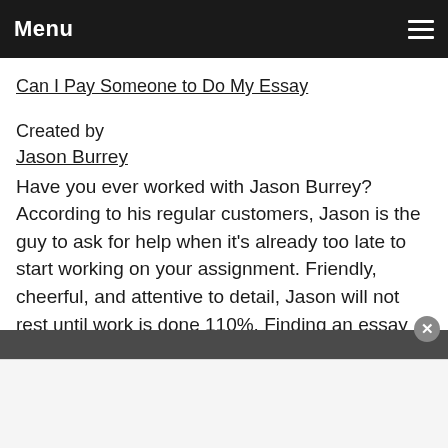Menu
Can I Pay Someone to Do My Essay
Created by
Jason Burrey
Have you ever worked with Jason Burrey? According to his regular customers, Jason is the guy to ask for help when it's already too late to start working on your assignment. Friendly, cheerful, and attentive to detail, Jason will not rest until work is done 110%. Finding an essay writer who could keep up with Jason's schedule would be one mission impossible for sure.